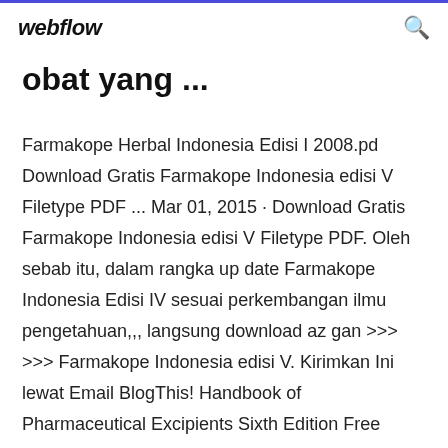webflow
obat yang ...
Farmakope Herbal Indonesia Edisi I 2008.pd Download Gratis Farmakope Indonesia edisi V Filetype PDF ... Mar 01, 2015 · Download Gratis Farmakope Indonesia edisi V Filetype PDF. Oleh sebab itu, dalam rangka up date Farmakope Indonesia Edisi IV sesuai perkembangan ilmu pengetahuan,,, langsung download az gan >>> >>> Farmakope Indonesia edisi V. Kirimkan Ini lewat Email BlogThis! Handbook of Pharmaceutical Excipients Sixth Edition Free Download pdf ebook. Download ebook farmakope indonesia edisi iv | telecharger ... Jan 19, 2015 · Farmakope Indonesia Edisi IV Depkes